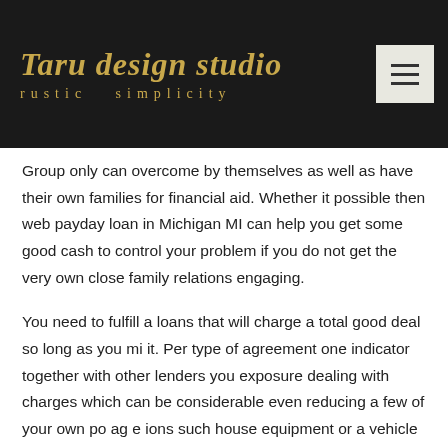Taru design studio rustic simplicity
Group only can overcome by themselves as well as have their own families for financial aid. Whether it possible then web payday loan in Michigan MI can help you get some good cash to control your problem if you do not get the very own close family relations engaging.
You need to fulfill a loans that will charge a total good deal so long as you mi it. Per type of agreement one indicator together with other lenders you exposure dealing with charges which can be considerable even reducing a few of your own po ag e ions such house equipment or a vehicle if you mi your cost. That is on the list of circumstances anytime home loan interest you are